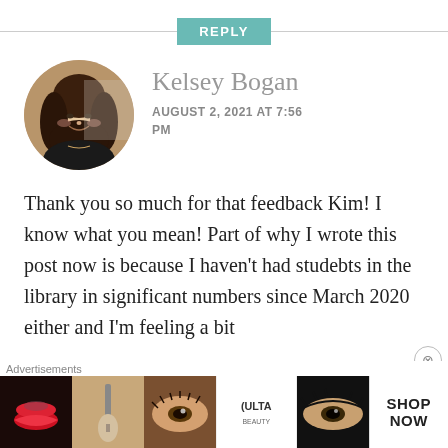REPLY
[Figure (photo): Circular avatar photo of Kelsey Bogan, a young woman with long dark hair, smiling, wearing a dark jacket]
Kelsey Bogan
AUGUST 2, 2021 AT 7:56 PM
Thank you so much for that feedback Kim! I know what you mean! Part of why I wrote this post now is because I haven't had studebts in the library in significant numbers since March 2020 either and I'm feeling a bit
[Figure (advertisement): ULTA Beauty advertisement banner with makeup imagery and SHOP NOW button]
Advertisements